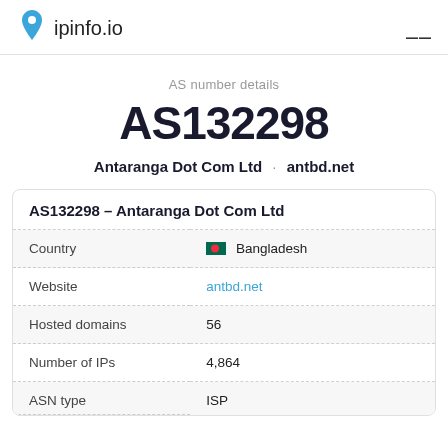ipinfo.io
AS number details
AS132298
Antaranga Dot Com Ltd · antbd.net
AS132298 – Antaranga Dot Com Ltd
|  |  |
| --- | --- |
| Country | Bangladesh |
| Website | antbd.net |
| Hosted domains | 56 |
| Number of IPs | 4,864 |
| ASN type | ISP |